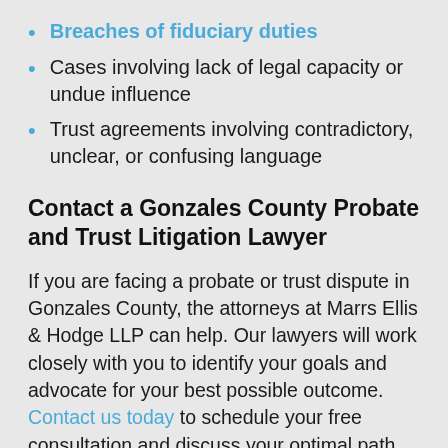Breaches of fiduciary duties
Cases involving lack of legal capacity or undue influence
Trust agreements involving contradictory, unclear, or confusing language
Contact a Gonzales County Probate and Trust Litigation Lawyer
If you are facing a probate or trust dispute in Gonzales County, the attorneys at Marrs Ellis & Hodge LLP can help. Our lawyers will work closely with you to identify your goals and advocate for your best possible outcome. Contact us today to schedule your free consultation and discuss your optimal path forward